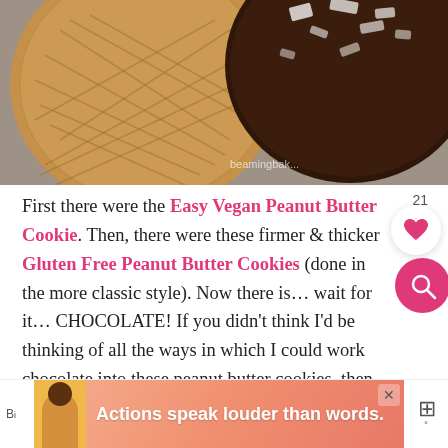[Figure (photo): Two peanut butter cookies side by side on a gray surface. Left cookie is plain/natural peanut butter color with crosshatch pattern. Right cookie is dipped in dark chocolate and topped with crushed nuts/coconut flakes. Watermark reads 'beaming...' partially visible.]
First there were the Easy Vegan Peanut Butter Cookies. Then, there were these firmer & thicker Gluten Free Peanut Butter Cookies (done in the more classic style). Now there is… wait for it… CHOCOLATE! If you didn't think I'd be thinking of all the ways in which I could work chocolate into these peanut butter cookies, then you don't know me at all.
[Figure (screenshot): Advertisement banner at bottom of page showing a person with text 'Actions speak louder than words.' on a pink/coral gradient background. Has a close X button and partial navigation elements.]